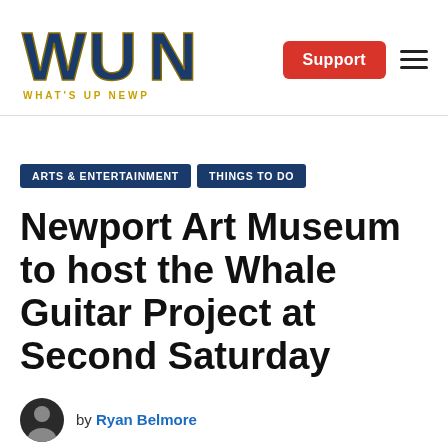WUN WHAT'S UP NEWP — Support
ARTS & ENTERTAINMENT   THINGS TO DO
Newport Art Museum to host the Whale Guitar Project at Second Saturday
by Ryan Belmore